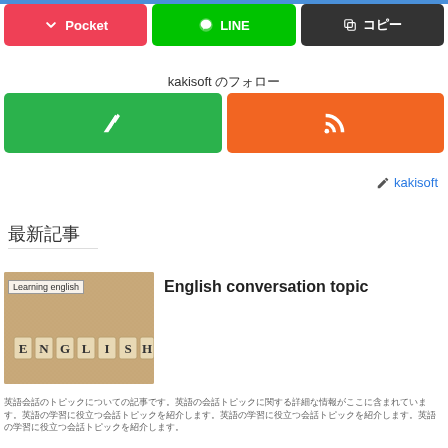[Figure (screenshot): Share buttons row: Pocket (pink), LINE (green), copy (dark gray)]
kakisoft のフォロー
[Figure (screenshot): Subscribe buttons: Feedly (green) and RSS (orange)]
✏ kakisoft
最新記事
[Figure (photo): Photo of letter tiles spelling ENGLISH on a textured background, with 'Learning english' label overlay]
English conversation topic
英語の会話トピックについての記事の抜粋テキストがここに表示されます。英語の会話トピックについての記事の抜粋テキストがここに表示されます。